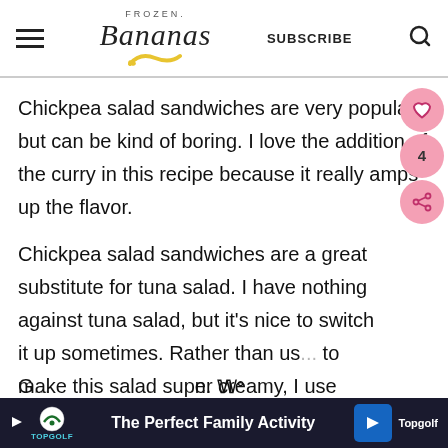FROZEN. Bananas — SUBSCRIBE
Chickpea salad sandwiches are very popular, but can be kind of boring. I love the addition of the curry in this recipe because it really amps up the flavor.
Chickpea salad sandwiches are a great substitute for tuna salad. I have nothing against tuna salad, but it's nice to switch it up sometimes. Rather than us... to make this salad super creamy, I use
[Figure (screenshot): What's Next promotion box showing Poached Egg Salad with...]
[Figure (infographic): Advertisement bar: The Perfect Family Activity - Topgolf]